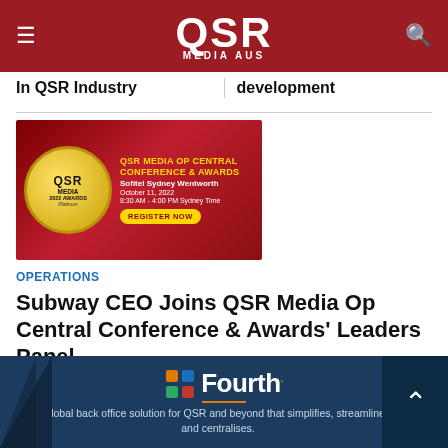QSR MEDIA AUS
In QSR Industry
development
[Figure (illustration): QSR Media Op Central Conference & Awards ad banner. Red background with gold QSR Media 2022 Awards badge. Text: QSR MEDIA OP CENTRAL CONFERENCE & AWARDS, Sofitel Sydney Wentworth, October 11, 2022, 8:30 AM - 4:00 PM Sydney Time, REGISTER NOW button.]
OPERATIONS
Subway CEO Joins QSR Media Op Central Conference & Awards' Leaders Panel
[Figure (illustration): Fourth brand advertisement. Dark navy background with Fourth logo (colorful grid icon) and text: Fourth. Global back office solution for QSR and beyond that simplifies, streamlines, and centralises.]